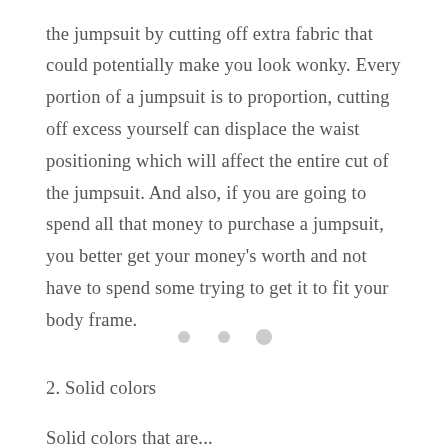the jumpsuit by cutting off extra fabric that could potentially make you look wonky. Every portion of a jumpsuit is to proportion, cutting off excess yourself can displace the waist positioning which will affect the entire cut of the jumpsuit. And also, if you are going to spend all that money to purchase a jumpsuit, you better get your money's worth and not have to spend some trying to get it to fit your body frame.
2. Solid colors
Solid colors that are...